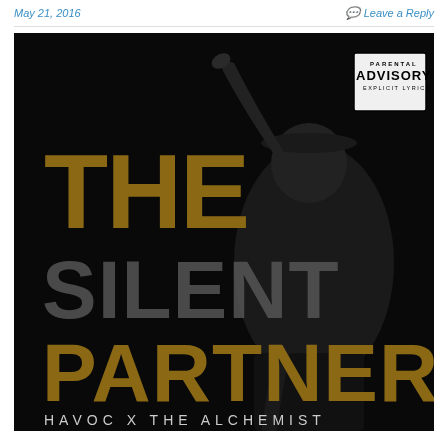May 21, 2016    Leave a Reply
[Figure (illustration): Album cover for 'The Silent Partner' by Havoc x The Alchemist. Dark/black background with a silhouetted rapper pointing upward. Large bold gold/brown text reads 'THE SILENT PARTNER'. Bottom left reads 'HAVOC X THE ALCHEMIST'. Top right features a Parental Advisory Explicit Content label.]